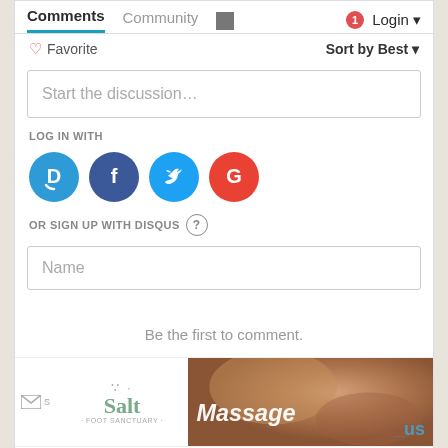Comments  Community  Login
♡ Favorite    Sort by Best
Start the discussion…
LOG IN WITH
[Figure (illustration): Social login icons: Disqus (D), Facebook (f), Twitter bird, Google (G) as colored circles]
OR SIGN UP WITH DISQUS ?
Name
Be the first to comment.
[Figure (illustration): Advertisement banner: Salt Foot Sanctuary logo on left, massage photo on right with text 'Massage', Disqus logo partially visible]
close ✕